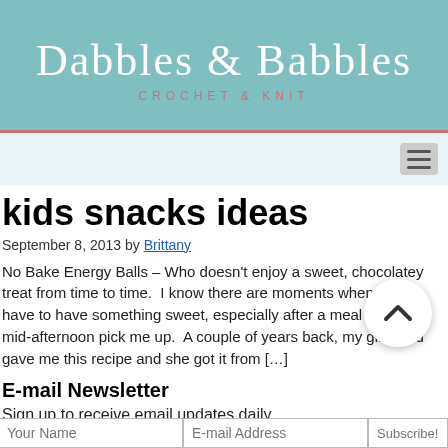Dabbles & Babbles CROCHET & KNIT
kids snacks ideas
September 8, 2013 by Brittany
No Bake Energy Balls – Who doesn't enjoy a sweet, chocolatey treat from time to time.  I know there are moments when I just have to have something sweet, especially after a meal or for a mid-afternoon pick me up.  A couple of years back, my girlfriend gave me this recipe and she got it from […]
E-mail Newsletter
Sign up to receive email updates daily
and to hear what's going on with us